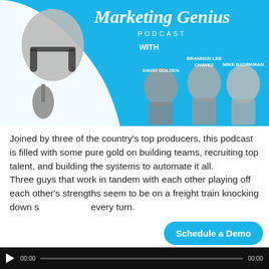[Figure (illustration): Marketing Genius Podcast banner image with blue background, showing a man with headphones and microphone on the left, three men in suits on the right labeled David Golden, Brannon Lee Chavez, and Mike Bjorkman]
Joined by three of the country's top producers, this podcast is filled with some pure gold on building teams, recruiting top talent, and building the systems to automate it all. Three guys that work in tandem with each other playing off each other's strengths seem to be on a freight train knocking down s... every turn.